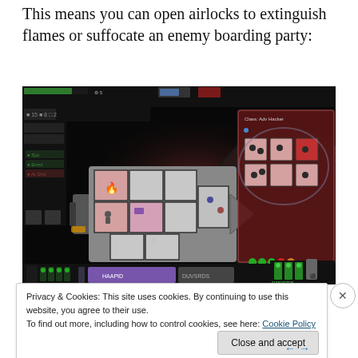This means you can open airlocks to extinguish flames or suffocate an enemy boarding party:
[Figure (screenshot): Screenshot of a space strategy game showing a spaceship layout on a dark background with a planet, with crew and room layouts visible. A side panel on the right shows an enemy ship with pink/red highlighted rooms.]
Privacy & Cookies: This site uses cookies. By continuing to use this website, you agree to their use.
To find out more, including how to control cookies, see here: Cookie Policy
Close and accept